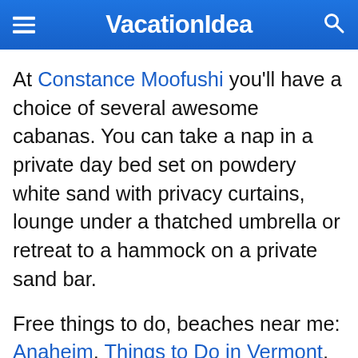VacationIdea
At Constance Moofushi you'll have a choice of several awesome cabanas. You can take a nap in a private day bed set on powdery white sand with privacy curtains, lounge under a thatched umbrella or retreat to a hammock on a private sand bar.
Free things to do, beaches near me: Anaheim, Things to Do in Vermont, Hawaii resorts, OH, Northern CA beaches, Holland, MI, Galveston, Ellensburg WA, Encinitas, LA, ME, MD, MI,